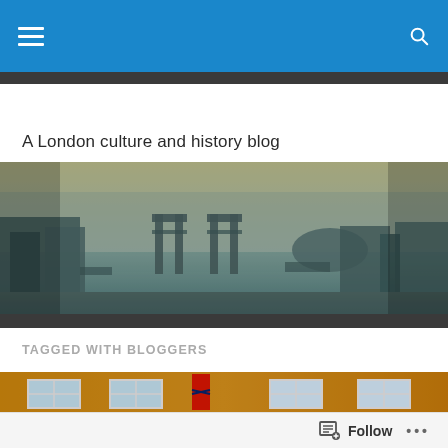[Navigation bar with hamburger menu and search icon]
A London culture and history blog
[Figure (photo): Aerial panoramic view of London showing Tower Bridge and the River Thames, in a faded teal/sepia tone]
TAGGED WITH BLOGGERS
[Figure (photo): Brick building facade with white-framed windows and a British flag hanging centrally]
Follow  •••